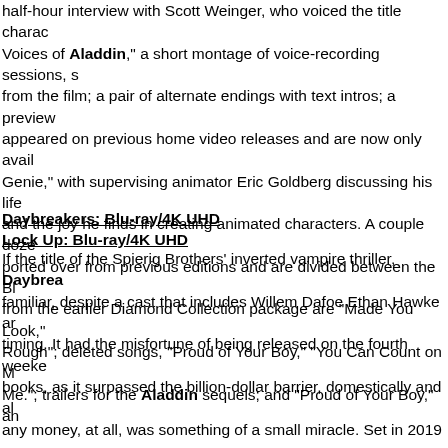half-hour interview with Scott Weinger, who voiced the title charac Voices of Aladdin," a short montage of voice-recording sessions, s from the film; a pair of alternate endings with text intros; a preview appeared on previous home video releases and are now only avail Genie," with supervising animator Eric Goldberg discussing his life and the joy he finds in creating animated characters. A couple doze ported over from previous editions and are divided between the Bl from the earlier Diamond Collection package are "Made You Look," Rough"; deleted songs, "Proud of Your Boy," "You Can Count on M Me."; trailers for the Aladdin sequels; and "Proud of Your Boy," an
Daybreakers: Blu-ray/4K UHD
Lock Up: Blu-ray/4K UHD
If the title of the Spierig Brothers' inverted vampire thriller, Daybre familiar, despite a cast that includes Willem Dafoe Ethan Hawke ar timing. It had the misfortune of being released on the fourth weeke books, as it surpassed the billion-dollar barrier, domestically and al any money, at all, was something of a small miracle. Set in 2019 a Australia — where a plague theoretically could be contained by the Daybreakers imagines a scenario in which almost every human be vampire. This might have worked out fine for the vamps, if it weren means less blood for the undead masses. Synthetics have been di lost the ability to satisfy the demand for sustenance. Riots have br and a scientist (Hawke) and an industrialist (Neill) are at cross purp to come up with a beverage made of synthetic blood – little differer